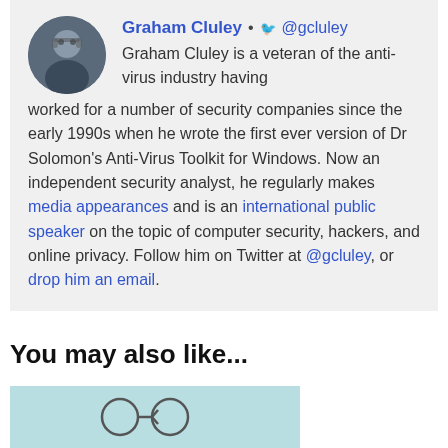[Figure (photo): Circular avatar photo of Graham Cluley, a man wearing glasses]
Graham Cluley • @gcluley
Graham Cluley is a veteran of the anti-virus industry having worked for a number of security companies since the early 1990s when he wrote the first ever version of Dr Solomon's Anti-Virus Toolkit for Windows. Now an independent security analyst, he regularly makes media appearances and is an international public speaker on the topic of computer security, hackers, and online privacy. Follow him on Twitter at @gcluley, or drop him an email.
You may also like...
[Figure (illustration): Partial preview of an illustration with a light teal background, showing what appears to be arrows or similar graphic elements]